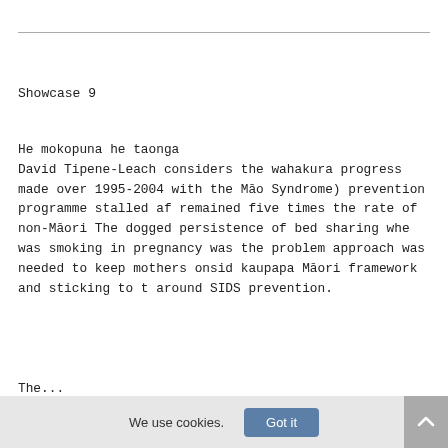Showcase 9
He mokopuna he taonga
David Tipene-Leach considers the wahakura progress made over 1995-2004 with the Māo Syndrome) prevention programme stalled af remained five times the rate of non-Māori The dogged persistence of bed sharing whe was smoking in pregnancy was the problem approach was needed to keep mothers onsid kaupapa Māori framework and sticking to t around SIDS prevention.
The...